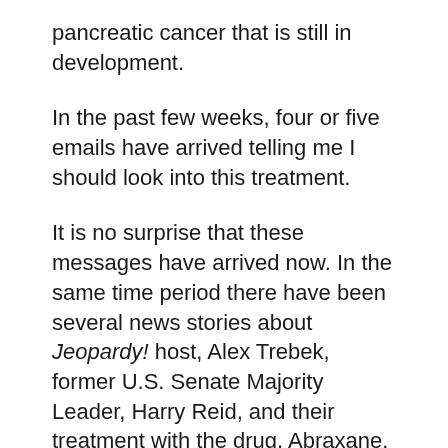pancreatic cancer that is still in development.
In the past few weeks, four or five emails have arrived telling me I should look into this treatment.
It is no surprise that these messages have arrived now. In the same time period there have been several news stories about Jeopardy! host, Alex Trebek, former U.S. Senate Majority Leader, Harry Reid, and their treatment with the drug, Abraxane.